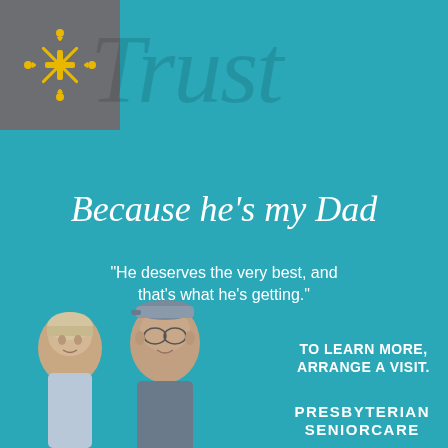[Figure (logo): Presbyterian SeniorCare logo: gold starburst/people icon on grey square background]
Trust
Because he's my Dad
“He deserves the very best, and that’s what he’s getting.”
TO LEARN MORE, ARRANGE A VISIT.
[Figure (photo): Photo of smiling elderly man wearing glasses and a cap, with a younger woman beside him, on teal background]
PRESBYTERIAN SENIORCARE